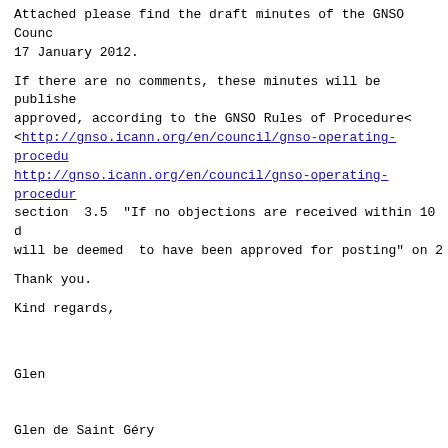Attached please find the draft minutes of the GNSO Council 17 January 2012.
If there are no comments, these minutes will be published approved, according to the GNSO Rules of Procedure< <http://gnso.icann.org/en/council/gnso-operating-procedu http://gnso.icann.org/en/council/gnso-operating-procedur section 3.5 "If no objections are received within 10 d will be deemed to have been approved for posting" on 2
Thank you.
Kind regards,
Glen
Glen de Saint Géry
GNSO Secretariat
<mailto:gnso.secretariat@xxxxxxxxxxxxx> gnso.secretari
<http://gnso.icann.org> http://gnso.icann.org